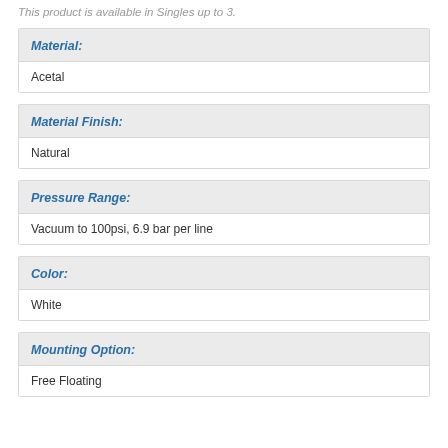This product is available in Singles up to 3.
| Material: |
| --- |
| Acetal |
| Material Finish: |
| --- |
| Natural |
| Pressure Range: |
| --- |
| Vacuum to 100psi, 6.9 bar per line |
| Color: |
| --- |
| White |
| Mounting Option: |
| --- |
| Free Floating |